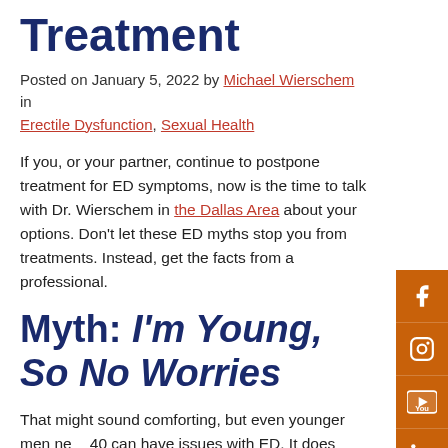Treatment
Posted on January 5, 2022 by Michael Wierschem in Erectile Dysfunction, Sexual Health
If you, or your partner, continue to postpone treatment for ED symptoms, now is the time to talk with Dr. Wierschem in the Dallas Area about your options. Don't let these ED myths stop you from treatments. Instead, get the facts from a professional.
Myth: I'm Young, So No Worries
That might sound comforting, but even younger men near 40 can have issues with ED. It does increase with age, but that's only part of it. 15% of males under 40 admit they have occasional problems, while sadly, only one-third of men with ED seek medical treatment.